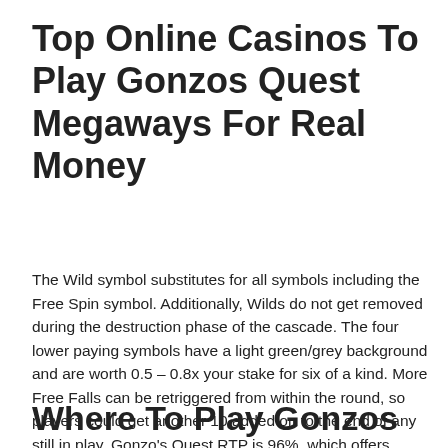Top Online Casinos To Play Gonzos Quest Megaways For Real Money
The Wild symbol substitutes for all symbols including the Free Spin symbol. Additionally, Wilds do not get removed during the destruction phase of the cascade. The four lower paying symbols have a light green/grey background and are worth 0.5 – 0.8x your stake for six of a kind. More Free Falls can be retriggered from within the round, so players could get another 10 added on to the end of any still in play. Gonzo's Quest RTP is 96%, which offers decent returns but not the best returns out of the slot sites. Joe is a seasoned iGaming copywriter and speaker who has been in the business since 2015.
Where To Play Gonzos